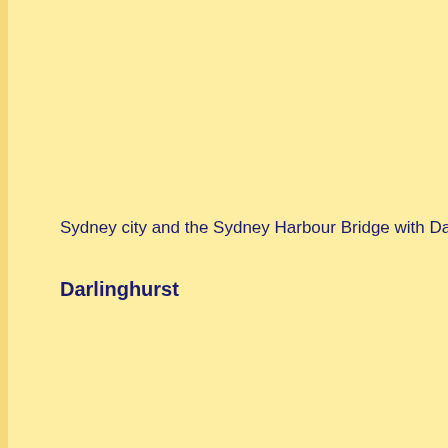Sydney city and the Sydney Harbour Bridge with Darling Po
Darlinghurst